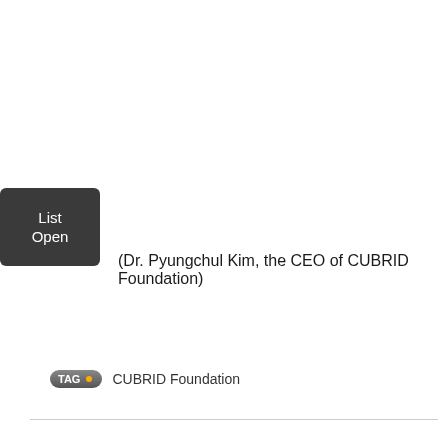[Figure (other): Dark rounded square button labeled 'List Open']
(Dr. Pyungchul Kim, the CEO of CUBRID Foundation)
TAG • CUBRID Foundation